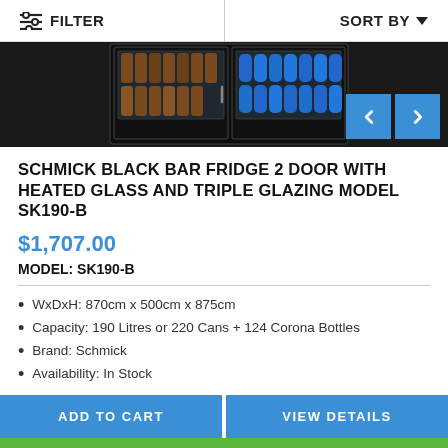FILTER   SORT BY
[Figure (photo): Black two-door bar fridge with glass doors showing bottles and cans inside, viewed from slightly above]
SCHMICK BLACK BAR FRIDGE 2 DOOR WITH HEATED GLASS AND TRIPLE GLAZING MODEL SK190-B
$1,707.00
MODEL: SK190-B
WxDxH: 870cm x 500cm x 875cm
Capacity: 190 Litres or 220 Cans + 124 Corona Bottles
Brand: Schmick
Availability: In Stock
ADD TO CART
VIEW DETAILS
+61 02 9055 8231